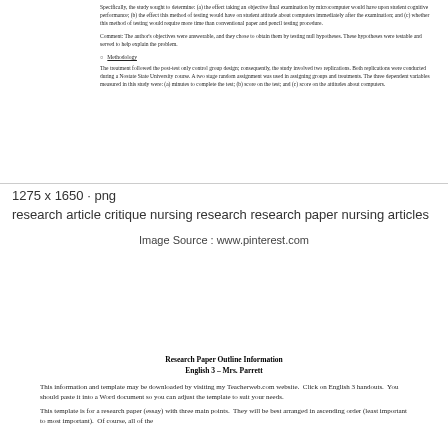Specifically, the study sought to determine: (a) the effect taking an objective final examination by microcomputer would have upon student cognitive performance; (b) the effect this method of testing would have on student attitude about computers immediately after the examination; and (c) whether this method of testing would require more time than conventional paper and pencil testing procedure.
Comment: The author's objectives were answerable, and they chose to obtain them by testing null hypotheses. These hypotheses were testable and served to help explain the problem.
Methodology
The treatment followed the post-test only control group design; consequently, the study involved two replications. Both replications were conducted during a Nostate State University course. A two stage random assignment was used in assigning groups and treatments. The three dependent variables measured in this study were: (a) minutes to complete the test; (b) score on the test; and (c) score on the attitudes about computers.
1275 x 1650 · png
research article critique nursing research research paper nursing articles
Image Source : www.pinterest.com
Research Paper Outline Information
English 3 – Mrs. Parrett
This information and template may be downloaded by visiting my Teacherweb.com website.  Click on English 3 handouts.  You should paste it into a Word document so you can adjust the template to suit your needs.
This template is for a research paper (essay) with three main points.  They will be best arranged in ascending order (least important to most important).  Of course, all of the